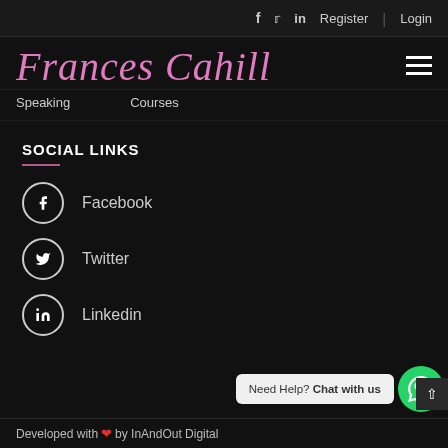f  Twitter  in  Register | Login
Frances Cahill
Speaking   Courses
SOCIAL LINKS
Facebook
Twitter
Linkedin
Need Help? Chat with us
Developed with ❤ by InAndOut Digital